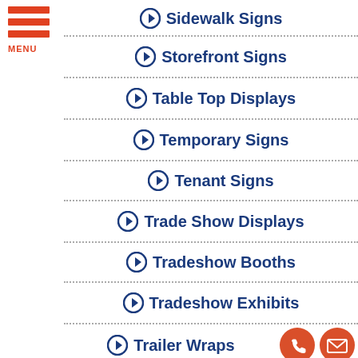Sidewalk Signs
Storefront Signs
Table Top Displays
Temporary Signs
Tenant Signs
Trade Show Displays
Tradeshow Booths
Tradeshow Exhibits
Trailer Wraps
[Figure (illustration): Orange hamburger menu icon with three horizontal bars and MENU label, and two orange circular contact icons (phone and email) at bottom right]